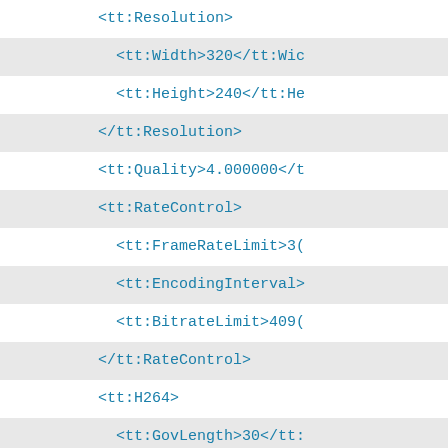XML/code snippet showing video encoder configuration with tt: namespace tags including Resolution, Width, Height, Quality, RateControl, FrameRateLimit, EncodingInterval, BitrateLimit, H264, GovLength, H264Profile, Multicast, Address, Type, Port, TTL, AutoStart, SessionTimeout, VideoEncoderConfiguration, AudioEncoderConfiguration with token="G711"